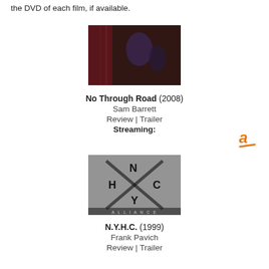the DVD of each film, if available.
[Figure (photo): Movie still from No Through Road (2008) showing a dark horror scene with a man and blood-stained wall]
No Through Road (2008)
Sam Barrett
Review | Trailer
Streaming:
[Figure (logo): Amazon logo shown as an orange italic 'a' with a curved underline arrow]
[Figure (photo): Movie poster/still for N.Y.H.C. (1999) showing a black and white graphic with N H C Y letters and an X pattern]
N.Y.H.C. (1999)
Frank Pavich
Review | Trailer